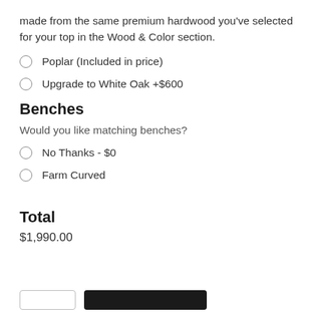made from the same premium hardwood you've selected for your top in the Wood & Color section.
Poplar (Included in price)
Upgrade to White Oak +$600
Benches
Would you like matching benches?
No Thanks - $0
Farm Curved
Total
$1,990.00